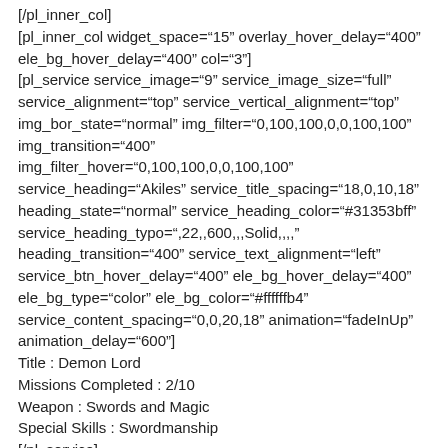[/pl_inner_col]
[pl_inner_col widget_space="15" overlay_hover_delay="400" ele_bg_hover_delay="400" col="3"]
[pl_service service_image="9" service_image_size="full" service_alignment="top" service_vertical_alignment="top" img_bor_state="normal" img_filter="0,100,100,0,0,100,100" img_transition="400" img_filter_hover="0,100,100,0,0,100,100" service_heading="Akiles" service_title_spacing="18,0,10,18" heading_state="normal" service_heading_color="#31353bff" service_heading_typo=",22,,600,,,Solid,,,," heading_transition="400" service_text_alignment="left" service_btn_hover_delay="400" ele_bg_hover_delay="400" ele_bg_type="color" ele_bg_color="#ffffffb4" service_content_spacing="0,0,20,18" animation="fadeInUp" animation_delay="600"]
Title : Demon Lord
Missions Completed : 2/10
Weapon : Swords and Magic
Special Skills : Swordmanship
[/pl_service]
[/pl_inner_col]
[pl_inner_col widget_space="15" overlay_hover_delay="400" ele_bg_hover_delay="400" col="3"]